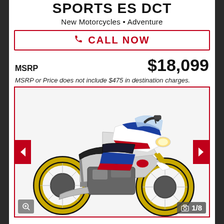SPORTS ES DCT
New Motorcycles • Adventure
CALL NOW
MSRP $18,099
MSRP or Price does not include $475 in destination charges.
[Figure (photo): Honda Africa Twin Adventure Sports ES DCT motorcycle in white, blue, and red colorway with gold wheels, side profile view]